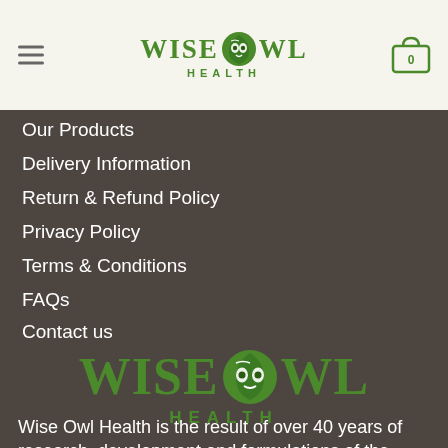[Figure (logo): Wise Owl Health logo in header — green text with owl icon]
Our Products
Delivery Information
Return & Refund Policy
Privacy Policy
Terms & Conditions
FAQs
Contact us
[Figure (logo): Large Wise Owl Health logo in footer area — green text with owl icon on dark background]
Wise Owl Health is the result of over 40 years of research, development and formulations of the highest